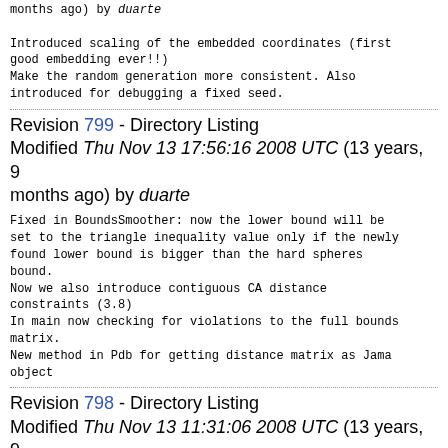months ago) by duarte

Introduced scaling of the embedded coordinates (first good embedding ever!!)
Make the random generation more consistent. Also introduced for debugging a fixed seed.
Revision 799 - Directory Listing
Modified Thu Nov 13 17:56:16 2008 UTC (13 years, 9 months ago) by duarte
Fixed in BoundsSmoother: now the lower bound will be set to the triangle inequality value only if the newly found lower bound is bigger than the hard spheres bound.
Now we also introduce contiguous CA distance constraints (3.8)
In main now checking for violations to the full bounds matrix.
New method in Pdb for getting distance matrix as Jama object
Revision 798 - Directory Listing
Modified Thu Nov 13 11:31:06 2008 UTC (13 years, 9 months ago) by duarte
New method in Pdb to set atoms for all coordinates of a given atom. Used in BoundsSmoother and Embedder mains.
Changed slightly how parameters are passed in